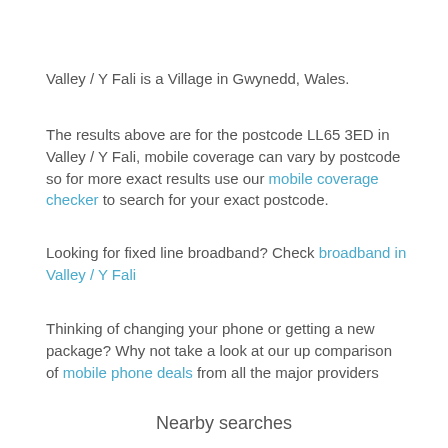Valley / Y Fali is a Village in Gwynedd, Wales.
The results above are for the postcode LL65 3ED in Valley / Y Fali, mobile coverage can vary by postcode so for more exact results use our mobile coverage checker to search for your exact postcode.
Looking for fixed line broadband? Check broadband in Valley / Y Fali
Thinking of changing your phone or getting a new package? Why not take a look at our up comparison of mobile phone deals from all the major providers
Nearby searches